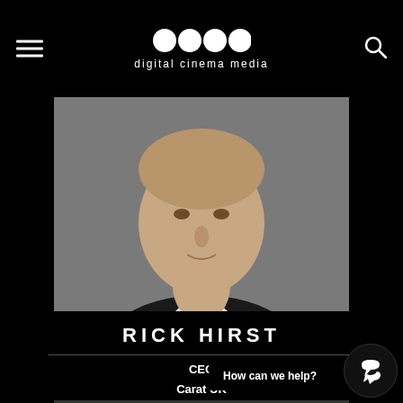digital cinema media
[Figure (photo): Professional headshot of Rick Hirst, a man in a dark suit with a white shirt, photographed against a grey background]
RICK HIRST
CEO
Carat UK
[Figure (photo): Professional headshot of a man with brown hair, photographed against a grey background]